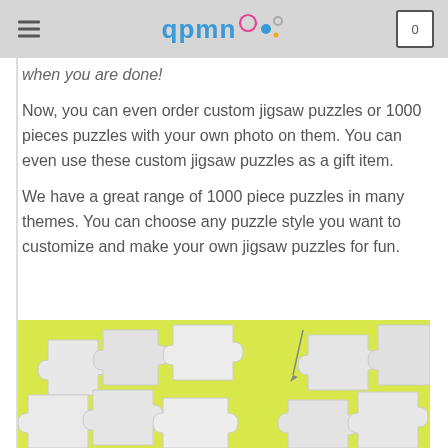qpmn (logo with decorative circles) — navigation header with hamburger menu and cart icon showing 0
when you are done!
Now, you can even order custom jigsaw puzzles or 1000 pieces puzzles with your own photo on them. You can even use these custom jigsaw puzzles as a gift item.
We have a great range of 1000 piece puzzles in many themes. You can choose any puzzle style you want to customize and make your own jigsaw puzzles for fun.
[Figure (photo): White jigsaw puzzle pieces scattered on a yellow-green background, photographed from above.]